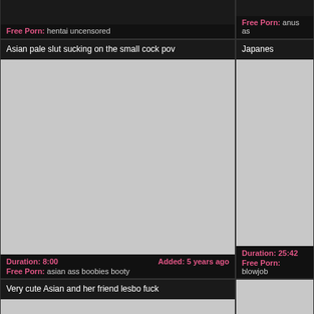Free Porn: hentai uncensored
Free Porn: anus as
Asian pale slut sucking on the small cock pov
Japanes
[Figure (photo): Video thumbnail placeholder (gray)]
[Figure (photo): Video thumbnail placeholder (gray), partial right side]
Duration: 8:00  Added: 5 years ago
Free Porn: asian ass boobies booty
Duration: 25:42
Free Porn: blowjob
Very cute Asian and her friend lesbo fuck
[Figure (photo): Video thumbnail placeholder (gray)]
[Figure (photo): Video thumbnail placeholder (gray), partial right side]